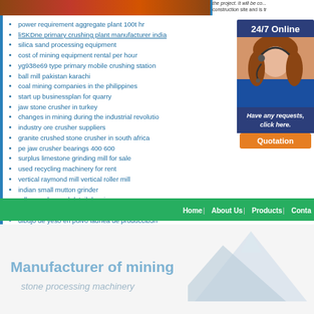[Figure (photo): Construction site / mining equipment photo strip at top]
the project. It will be constructed on a construction site and is tr
power requirement aggregate plant 100t hr
liSKDne primary crushing plant manufacturer india
silica sand processing equipment
cost of mining equipment rental per hour
yg938e69 type primary mobile crushing station
ball mill pakistan karachi
coal mining companies in the philippines
start up businessplan for quarry
jaw stone crusher in turkey
changes in mining during the industrial revolution
industry ore crusher suppliers
granite crushed stone crusher in south africa
pe jaw crusher bearings 400 600
surplus limestone grinding mill for sale
used recycling machinery for rent
vertical raymond mill vertical roller mill
indian small mutton grinder
roller crusher cad detail drawing
safety operating procedure for cone crusher
dibujo de yeso en polvo ladnea de produccib3n
[Figure (photo): 24/7 Online customer service representative photo with headset]
Have any requests, click here.
Quotation
Home | About Us | Products | Contact
Manufacturer of mining
stone processing machinery
[Figure (illustration): Light blue mountain silhouette illustration]